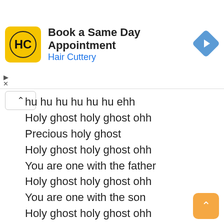[Figure (screenshot): Hair Cuttery ad banner: yellow square logo with HC letters, text 'Book a Same Day Appointment' and 'Hair Cuttery' in blue, blue diamond arrow icon on right]
hu hu hu hu hu hu ehh
Holy ghost holy ghost ohh
Precious holy ghost
Holy ghost holy ghost ohh
You are one with the father
Holy ghost holy ghost ohh
You are one with the son
Holy ghost holy ghost ohh
Yehh heh hehhh

My joy
My joy
My joy
My joy
Holy ghost